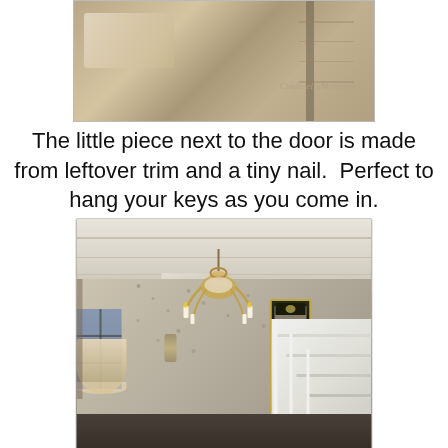[Figure (photo): Close-up photo of a miniature dollhouse scene showing a door area with lace curtain detail and a small key holder piece made from trim and a tiny nail. Watermark reads 'CinderellaMoments'.]
The little piece next to the door is made from leftover trim and a tiny nail.  Perfect to hang your keys as you come in.
[Figure (photo): Photo of a miniature dollhouse interior showing an elegant entryway with a chandelier hanging from a beamed ceiling, patterned wallpaper, a tall dark-framed mirror or grandfather clock on the wall, white staircase railing on the right, a window on the left, and a lampshade visible in lower left.]